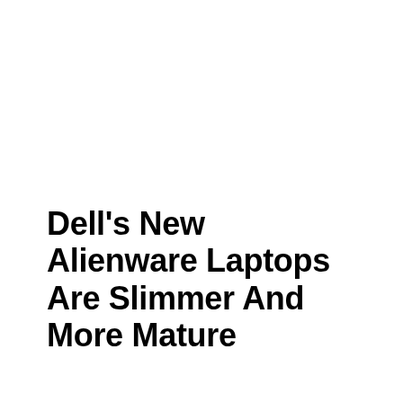Dell’s New Alienware Laptops Are Slimmer And More Mature